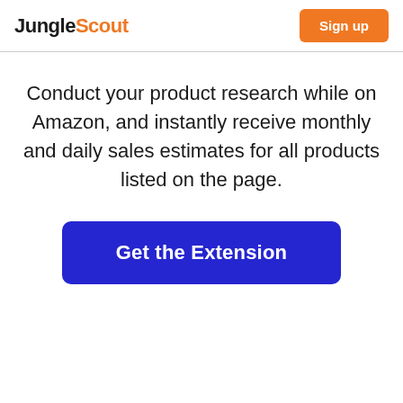JungleScout | Sign up
Conduct your product research while on Amazon, and instantly receive monthly and daily sales estimates for all products listed on the page.
Get the Extension